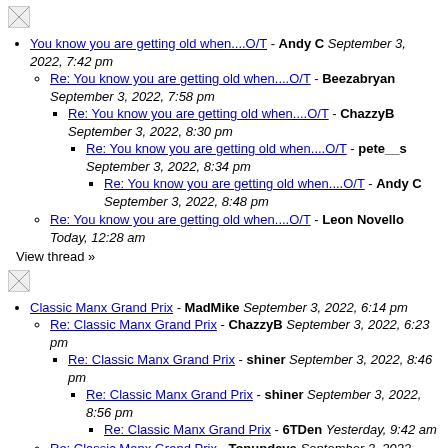[Figure (illustration): Small broken image icon at top left]
You know you are getting old when....O/T - Andy C September 3, 2022, 7:42 pm
Re: You know you are getting old when....O/T - Beezabryan September 3, 2022, 7:58 pm
Re: You know you are getting old when....O/T - ChazzyB September 3, 2022, 8:30 pm
Re: You know you are getting old when....O/T - pete__s September 3, 2022, 8:34 pm
Re: You know you are getting old when....O/T - Andy C September 3, 2022, 8:48 pm
Re: You know you are getting old when....O/T - Leon Novello Today, 12:28 am
View thread »
[Figure (illustration): Small broken image icon second section]
Classic Manx Grand Prix - MadMike September 3, 2022, 6:14 pm
Re: Classic Manx Grand Prix - ChazzyB September 3, 2022, 6:23 pm
Re: Classic Manx Grand Prix - shiner September 3, 2022, 8:46 pm
Re: Classic Manx Grand Prix - shiner September 3, 2022, 8:56 pm
Re: Classic Manx Grand Prix - 6TDen Yesterday, 9:42 am
Re: Classic Manx Grand Prix - Tonupdave September 3, 2022, 8:58 pm
Re: Classic Manx Grand Prix - MadMike September 3, 2022, 10:47 pm